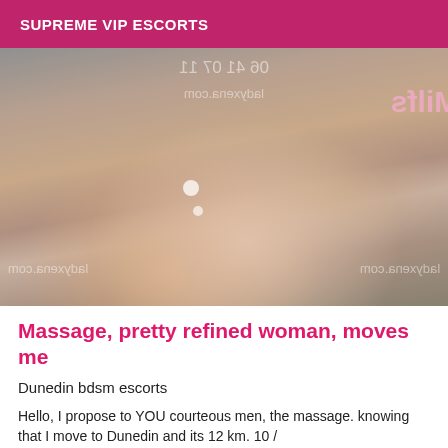SUPREME VIP ESCORTS
[Figure (photo): A photo showing legs of a woman in heels, with watermarks reading 'ladyxena.com' and a phone number, displayed mirrored/flipped.]
Massage, pretty refined woman, moves me
Dunedin bdsm escorts
Hello, I propose to YOU courteous men, the massage. knowing that I move to Dunedin and its 12 km. 10 /